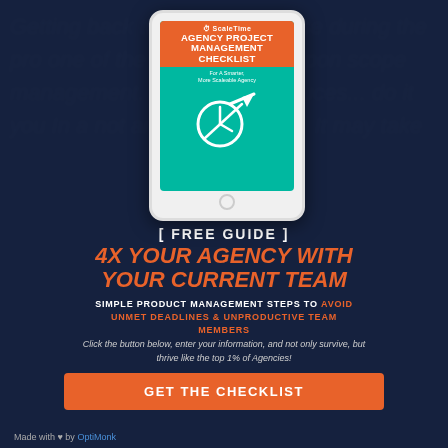[Figure (illustration): Tablet device displaying the Agency Project Management Checklist cover with ScaleTime logo, orange header, teal background with clock and arrow graphic]
[ FREE GUIDE ]
4X YOUR AGENCY WITH YOUR CURRENT TEAM
SIMPLE PRODUCT MANAGEMENT STEPS TO AVOID UNMET DEADLINES & UNPRODUCTIVE TEAM MEMBERS
Click the button below, enter your information, and not only survive, but thrive like the top 1% of Agencies!
GET THE CHECKLIST
Made with ♥ by OptiMonk